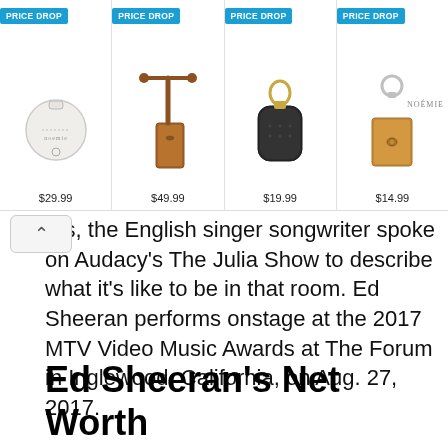[Figure (other): Advertisement banner showing four leather accessories from Noémie brand, each labeled PRICE DROP. Items: round white coin purse $29.99, brown phone strap $49.99, black AirPods case $19.99, tan leather keychain $14.99.]
…rds, the English singer songwriter spoke on Audacy's The Julia Show to describe what it's like to be in that room. Ed Sheeran performs onstage at the 2017 MTV Video Music Awards at The Forum in Inglewood, California, on Aug. 27, 2017.
Ed Sheeran's Net Worth